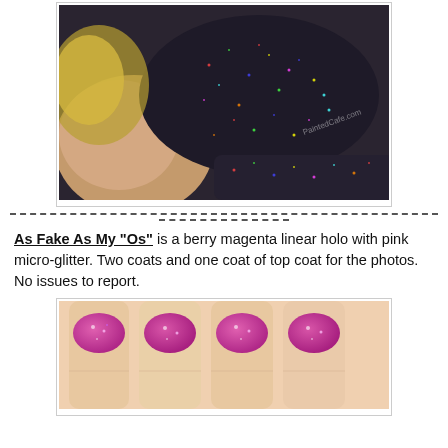[Figure (photo): Close-up photo of dark holographic glitter nail polish being held between fingers, showing rainbow sparkle effect on a dark base. Watermark reads PaintedCafe.com]
As Fake As My "Os" is a berry magenta linear holo with pink micro-glitter. Two coats and one coat of top coat for the photos. No issues to report.
[Figure (photo): Photo of a hand with four fingers showing nails painted in berry magenta pink holographic glitter nail polish.]